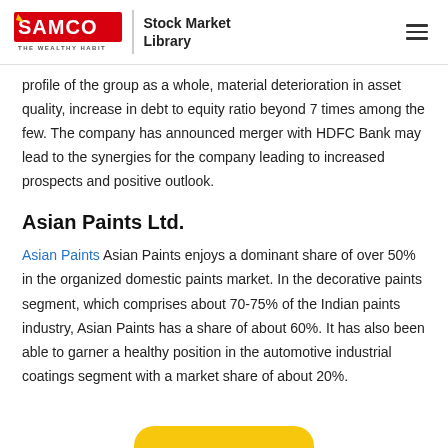SAMCO Stock Market Library
profile of the group as a whole, material deterioration in asset quality, increase in debt to equity ratio beyond 7 times among the few. The company has announced merger with HDFC Bank may lead to the synergies for the company leading to increased prospects and positive outlook.
Asian Paints Ltd.
Asian Paints Asian Paints enjoys a dominant share of over 50% in the organized domestic paints market. In the decorative paints segment, which comprises about 70-75% of the Indian paints industry, Asian Paints has a share of about 60%. It has also been able to garner a healthy position in the automotive industrial coatings segment with a market share of about 20%.